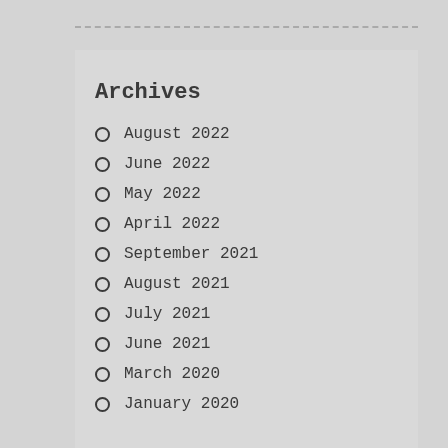Archives
August 2022
June 2022
May 2022
April 2022
September 2021
August 2021
July 2021
June 2021
March 2020
January 2020